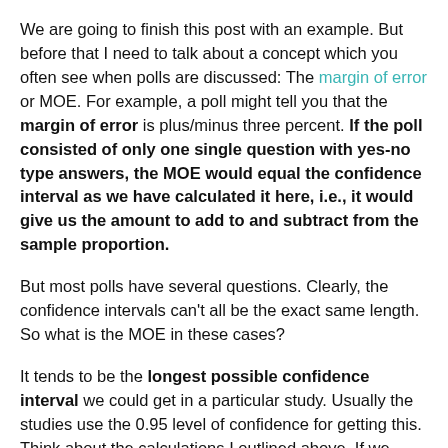We are going to finish this post with an example. But before that I need to talk about a concept which you often see when polls are discussed: The margin of error or MOE. For example, a poll might tell you that the margin of error is plus/minus three percent. If the poll consisted of only one single question with yes-no type answers, the MOE would equal the confidence interval as we have calculated it here, i.e., it would give us the amount to add to and subtract from the sample proportion.
But most polls have several questions. Clearly, the confidence intervals can't all be the exact same length. So what is the MOE in these cases?
It tends to be the longest possible confidence interval we could get in a particular study. Usually the studies use the 0.95 level of confidence for getting this. Think about the calculations I outlined above. If we have fixed the confidence interval at 0.95 and if we have a sample of a given size, what could we change to make the interval as long as possible? Suppose that we ignore the actual value of the sample proportion we get in any particular question and just